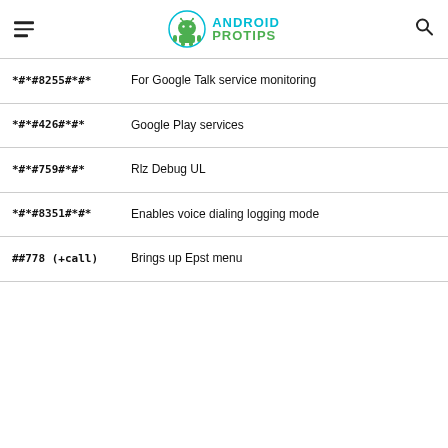Android Pro Tips
| Code | Description |
| --- | --- |
| *#*#8255#*#* | For Google Talk service monitoring |
| *#*#426#*#* | Google Play services |
| *#*#759#*#* | Rlz Debug UL |
| *#*#8351#*#* | Enables voice dialing logging mode |
| ##778 (+call) | Brings up Epst menu |